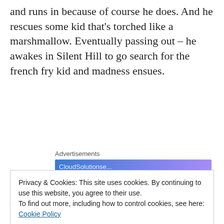and runs in because of course he does. And he rescues some kid that's torched like a marshmallow. Eventually passing out – he awakes in Silent Hill to go search for the french fry kid and madness ensues.
Advertisements
[Figure (other): Advertisement banner with blue to purple gradient background]
Now, if I may – first off – I am a Daughter Daddy. She is the light of my life. When my wife was pregnant I think I surprised her by crossing my fingers and
Privacy & Cookies: This site uses cookies. By continuing to use this website, you agree to their use.
To find out more, including how to control cookies, see here: Cookie Policy
– I'M NOT FOLLOWING HER. I DON'T CARE. GO